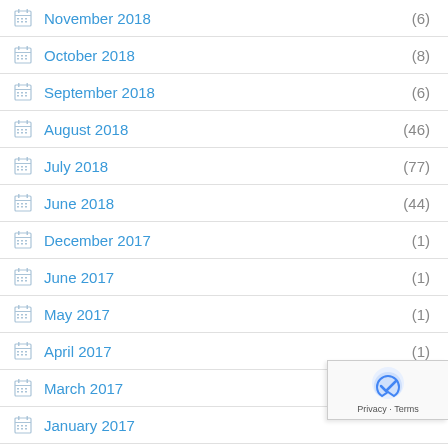November 2018 (6)
October 2018 (8)
September 2018 (6)
August 2018 (46)
July 2018 (77)
June 2018 (44)
December 2017 (1)
June 2017 (1)
May 2017 (1)
April 2017 (1)
March 2017 (1)
January 2017 (1)